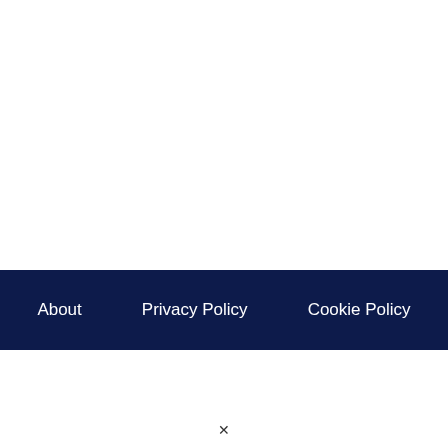About   Privacy Policy   Cookie Policy